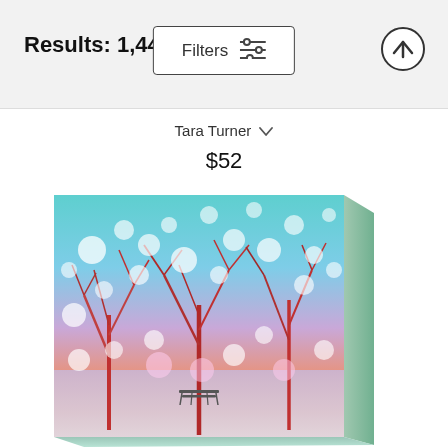Results: 1,442
Filters
Tara Turner
$52
[Figure (photo): Canvas print artwork showing a colorful winter park scene with glowing bokeh light orbs, bare trees with reddish trunks, a park bench in snow, and a vibrant teal/pink/orange sky, displayed as a 3D canvas wrap angled slightly to the right.]